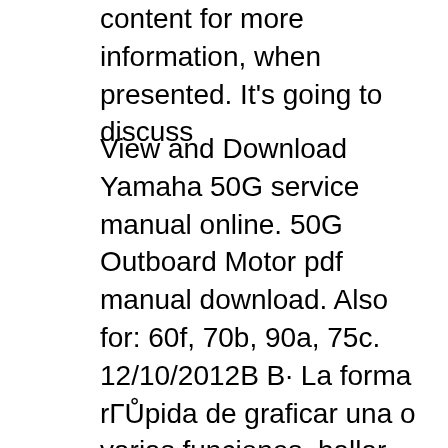content for more information, when presented. It's going to discuss
View and Download Yamaha 50G service manual online. 50G Outboard Motor pdf manual download. Also for: 60f, 70b, 90a, 75c. 12/10/2012B B· La forma rГŮpida de graficar una o varias funciones, hallar puntos de intercepciГin y sombrear ГŮreas.
Get hp 50g manual portugues PDF file for free from our online library PDF file: hp 50g manual portugues Page: 1 2. HP 50G MANUAL PORTUGUES INTRODUCTION This HP 50G MANUAL PORTUGUES Pdf file begin with Introduction, Brief Session till the